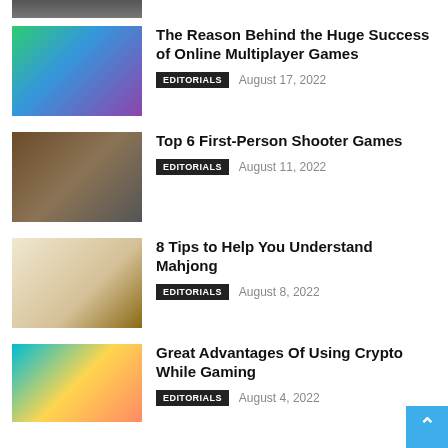[Figure (photo): Cropped bottom portion of a game screenshot at top of page]
[Figure (photo): Screenshot of online multiplayer game (Fortnite-like) showing characters on colorful map]
The Reason Behind the Huge Success of Online Multiplayer Games
EDITORIALS   August 17, 2022
[Figure (photo): First-person shooter game screenshot showing character with gun in desert environment]
Top 6 First-Person Shooter Games
EDITORIALS   August 11, 2022
[Figure (photo): Photo of Mahjong tiles arranged on a table]
8 Tips to Help You Understand Mahjong
EDITORIALS   August 8, 2022
[Figure (photo): Colorful mobile/casual game screenshot with cartoon graphics]
Great Advantages Of Using Crypto While Gaming
EDITORIALS   August 4, 2022